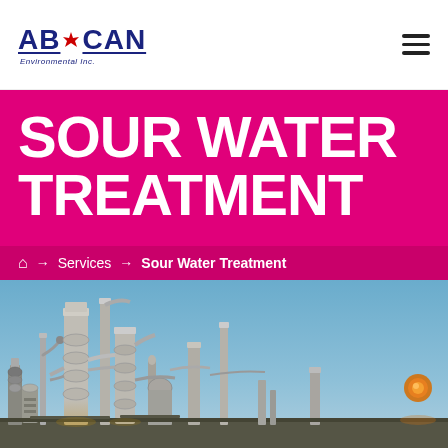ABCAN Environmental Inc.
SOUR WATER TREATMENT
🏠 → Services → Sour Water Treatment
[Figure (photo): Industrial refinery or chemical plant with multiple distillation towers and piping structures photographed at dusk with blue sky background and warm lighting on the equipment.]